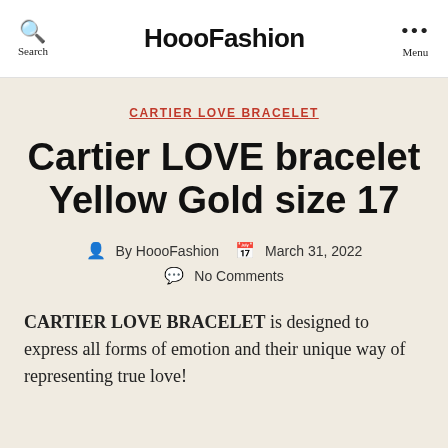HoooFashion
CARTIER LOVE BRACELET
Cartier LOVE bracelet Yellow Gold size 17
By HoooFashion   March 31, 2022
No Comments
CARTIER LOVE BRACELET is designed to express all forms of emotion and their unique way of representing true love!